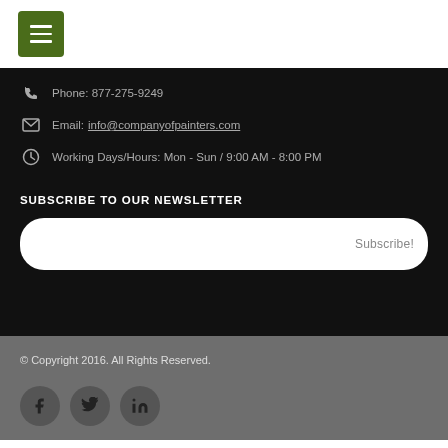Menu button (hamburger icon)
Phone: 877-275-9249
Email: info@companyofpainters.com
Working Days/Hours: Mon - Sun / 9:00 AM - 8:00 PM
SUBSCRIBE TO OUR NEWSLETTER
Subscribe!
© Copyright 2016. All Rights Reserved.